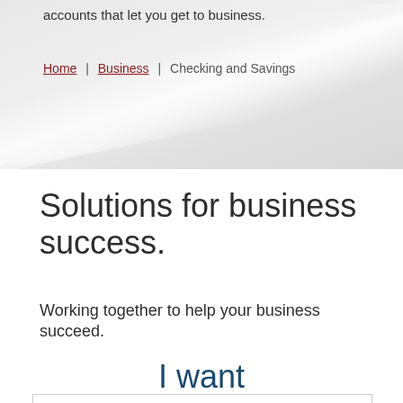accounts that let you get to business.
Home | Business | Checking and Savings
Solutions for business success.
Working together to help your business succeed.
I want